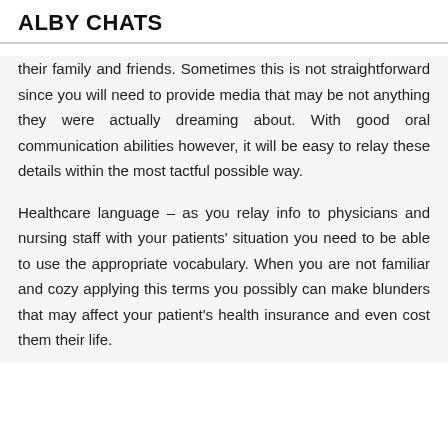ALBY CHATS
their family and friends. Sometimes this is not straightforward since you will need to provide media that may be not anything they were actually dreaming about. With good oral communication abilities however, it will be easy to relay these details within the most tactful possible way.
Healthcare language – as you relay info to physicians and nursing staff with your patients' situation you need to be able to use the appropriate vocabulary. When you are not familiar and cozy applying this terms you possibly can make blunders that may affect your patient's health insurance and even cost them their life.